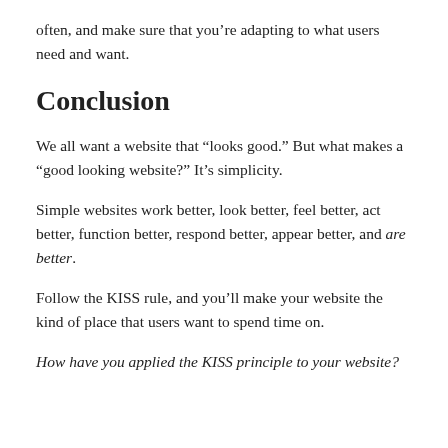often, and make sure that you’re adapting to what users need and want.
Conclusion
We all want a website that “looks good.” But what makes a “good looking website?” It’s simplicity.
Simple websites work better, look better, feel better, act better, function better, respond better, appear better, and are better.
Follow the KISS rule, and you’ll make your website the kind of place that users want to spend time on.
How have you applied the KISS principle to your website?